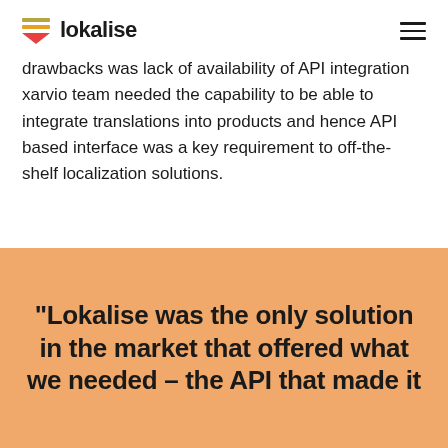lokalise
drawbacks was lack of availability of API integration xarvio team needed the capability to be able to integrate translations into products and hence API based interface was a key requirement to off-the-shelf localization solutions.
“Lokalise was the only solution in the market that offered what we needed – the API that made it